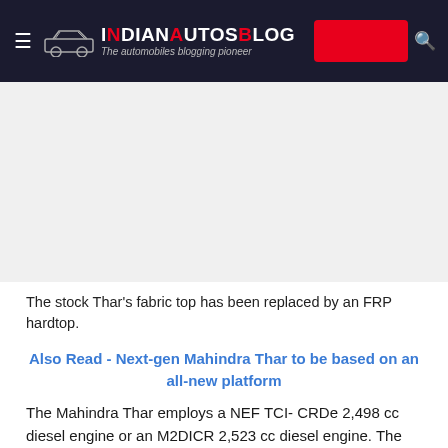IndianAutosBlog — The automobiles blogging pioneer
[Figure (photo): Large image placeholder (white/grey area) showing modified Mahindra Thar with FRP hardtop]
The stock Thar's fabric top has been replaced by an FRP hardtop.
Also Read - Next-gen Mahindra Thar to be based on an all-new platform
The Mahindra Thar employs a NEF TCI- CRDe 2,498 cc diesel engine or an M2DICR 2,523 cc diesel engine. The